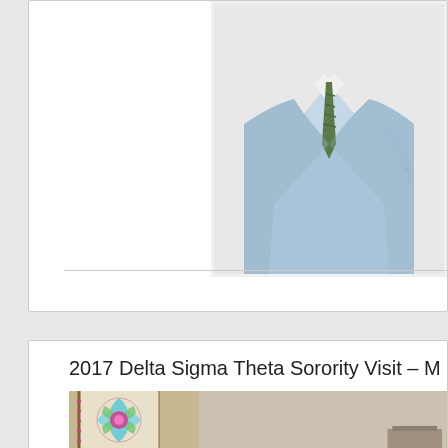[Figure (photo): Top portion of a card/post showing a person in a light blue suit with a green patterned tie, cropped to show torso only]
2017 Delta Sigma Theta Sorority Visit – M
[Figure (photo): Photo showing a decorative stained glass panel on the left with colorful circular mandala/floral design in blues, greens, purples and pinks, and a light beige/tan wall interior on the right]